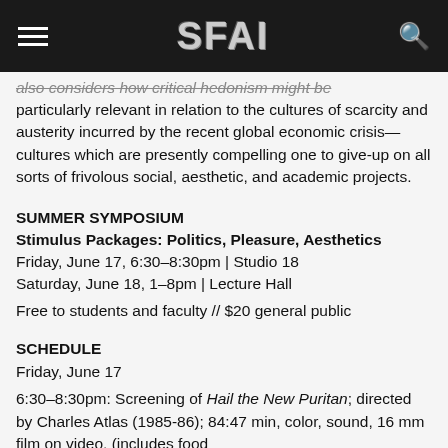SFAI
also considers how critical hedonism might be particularly relevant in relation to the cultures of scarcity and austerity incurred by the recent global economic crisis—cultures which are presently compelling one to give-up on all sorts of frivolous social, aesthetic, and academic projects.
SUMMER SYMPOSIUM
Stimulus Packages: Politics, Pleasure, Aesthetics
Friday, June 17, 6:30–8:30pm | Studio 18
Saturday, June 18, 1–8pm | Lecture Hall

Free to students and faculty // $20 general public
SCHEDULE
Friday, June 17

6:30–8:30pm: Screening of Hail the New Puritan; directed by Charles Atlas (1985-86); 84:47 min, color, sound, 16 mm film on video. (includes food